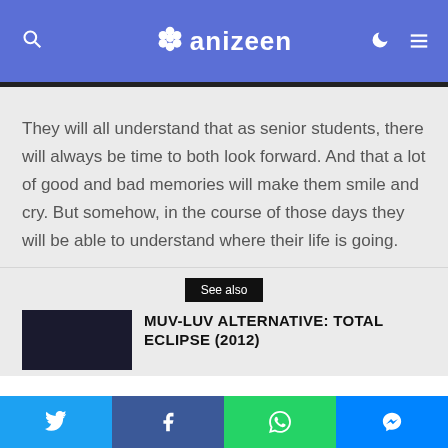anizeen
They will all understand that as senior students, there will always be time to both look forward. And that a lot of good and bad memories will make them smile and cry. But somehow, in the course of those days they will be able to understand where their life is going.
See also
MUV-LUV ALTERNATIVE: TOTAL ECLIPSE (2012)